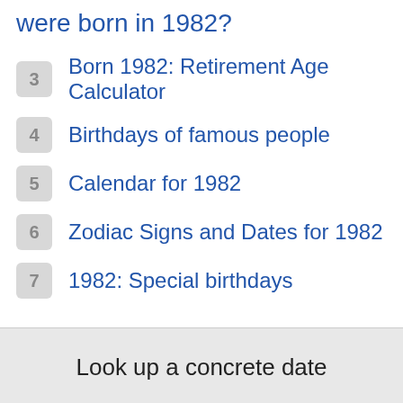were born in 1982?
3 Born 1982: Retirement Age Calculator
4 Birthdays of famous people
5 Calendar for 1982
6 Zodiac Signs and Dates for 1982
7 1982: Special birthdays
Look up a concrete date
20  August  1982